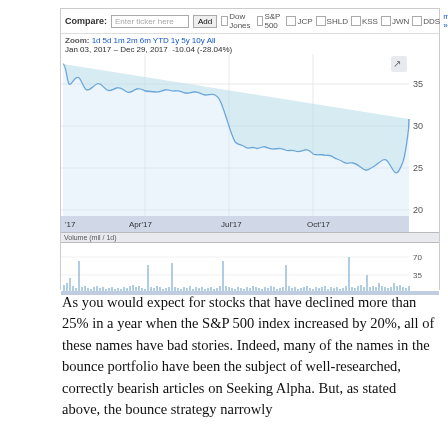[Figure (continuous-plot): Stock price chart for a retail stock (JCP) from Jan 03, 2017 to Dec 29, 2017, showing -10.04 (-28.04%) change. Price ranged from approximately 18 to 36. Chart includes volume bars at bottom. Compare toolbar shows Dow Jones, S&P 500, JCP, SHLD, KSS, JWN, DDS options.]
As you would expect for stocks that have declined more than 25% in a year when the S&P 500 index increased by 20%, all of these names have bad stories. Indeed, many of the names in the bounce portfolio have been the subject of well-researched, correctly bearish articles on Seeking Alpha. But, as stated above, the bounce strategy narrowly